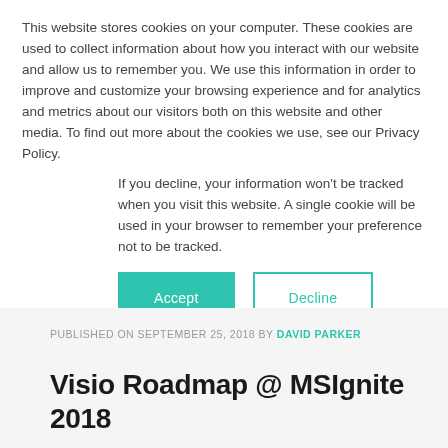This website stores cookies on your computer. These cookies are used to collect information about how you interact with our website and allow us to remember you. We use this information in order to improve and customize your browsing experience and for analytics and metrics about our visitors both on this website and other media. To find out more about the cookies we use, see our Privacy Policy.
If you decline, your information won't be tracked when you visit this website. A single cookie will be used in your browser to remember your preference not to be tracked.
PUBLISHED ON SEPTEMBER 25, 2018 BY DAVID PARKER
Visio Roadmap @ MSIgnite 2018